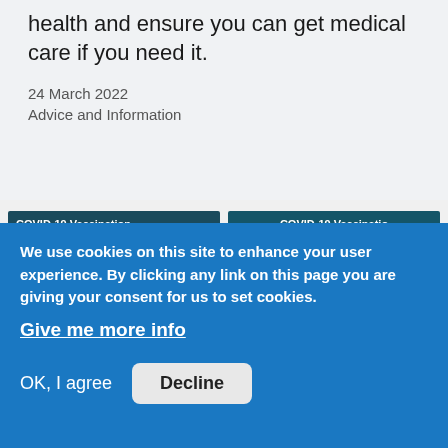health and ensure you can get medical care if you need it.
24 March 2022
Advice and Information
[Figure (screenshot): COVID-19 Vaccination Information Event for Disabled People card with logos including Healthwatch, South Gloucestershire Council, and SGDEN]
[Figure (screenshot): COVID-19 Vaccination Information Event for Older People card with Healthwatch South Gloucestershire and South Gloucestershire Council logos]
[Figure (screenshot): COVID-19 Vaccination card (partial, bottom left)]
[Figure (screenshot): COVID-19 Vaccination card (partial, bottom right)]
We use cookies on this site to enhance your user experience. By clicking any link on this page you are giving your consent for us to set cookies.
Give me more info
OK, I agree
Decline